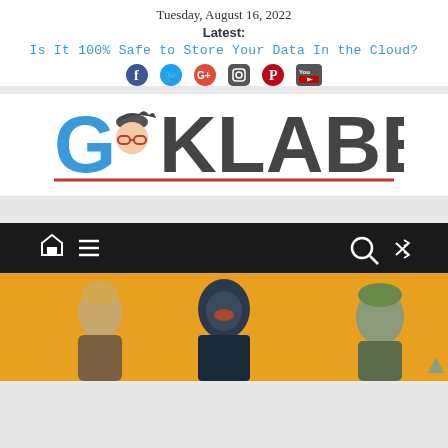Tuesday, August 16, 2022
Latest:
Is It 100% Safe to Store Your Data In the Cloud?
[Figure (logo): GeekLabel logo with stylized face icon, blue and dark gray text, red underline]
[Figure (illustration): Navigation bar with home, menu, search and shuffle icons on dark background]
[Figure (photo): Fortnite game characters on yellow/orange background]